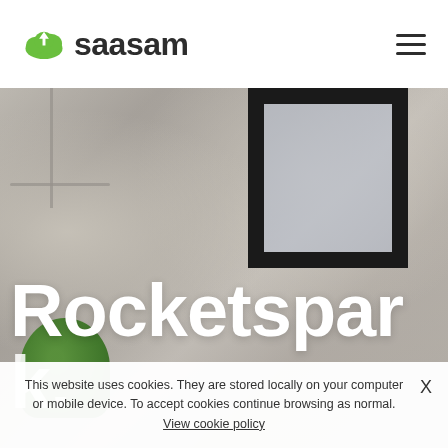[Figure (logo): Saasam logo with green cloud icon and dark text 'saasam']
[Figure (photo): Hero background photo of a modern interior workspace with white brick wall, dark-framed window, green plant, and tablet device. Large white text overlay reads 'Rocketspar k.' partially visible.]
Rocketspar k.
This website uses cookies. They are stored locally on your computer or mobile device. To accept cookies continue browsing as normal. View cookie policy